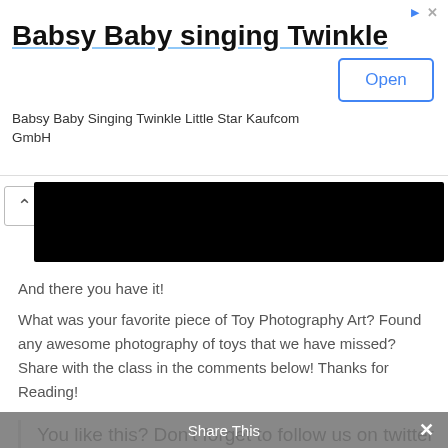[Figure (screenshot): Mobile ad banner for 'Babsy Baby singing Twinkle' app with Open button]
Babsy Baby singing Twinkle
Babsy Baby Singing Twinkle Little Star Kaufcom GmbH
[Figure (photo): Black redacted image bar with chevron up button on left]
And there you have it!
What was your favorite piece of Toy Photography Art? Found any awesome photography of toys that we have missed? Share with the class in the comments below! Thanks for Reading!
You like this? Don't forget to follow us on twitter @andysowards and like us on facebook @andysowardsfan! We are also on that Google Plus &
Share This